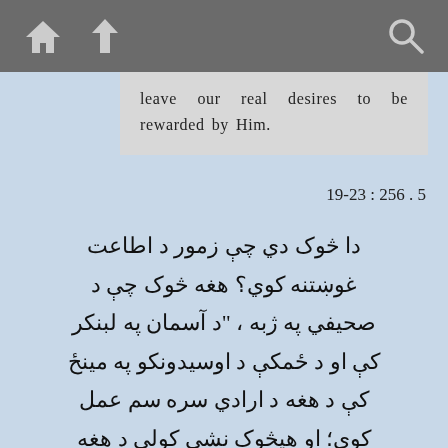[Figure (screenshot): Dark grey toolbar with home icon, up arrow icon, and search icon]
leave our real desires to be rewarded by Him.
5 . 256 : 19-23
دا څوک دي چې زمور د اطاعت غوښتنه کوي؟ هغه څوک چې د صحيفي په ژبه ، "د آسمان په لبنکر کې او د ځمکې د اوسيدونکو په مينځ کې د هغه د ارادي سره سم عمل کوي؛ او هيڅوک نشي کولي د هغه